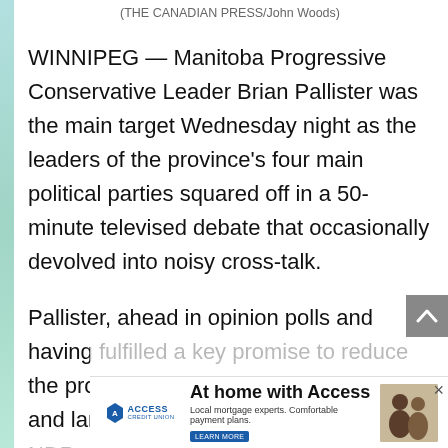(THE CANADIAN PRESS/John Woods)
WINNIPEG — Manitoba Progressive Conservative Leader Brian Pallister was the main target Wednesday night as the leaders of the province's four main political parties squared off in a 50-minute televised debate that occasionally devolved into noisy cross-talk.
Pallister, ahead in opinion polls and having fulfilled a key promise to reduce the provincial sales tax, focused on taxes and large deficits under the previous NDP government, and made
[Figure (infographic): Access Credit Union advertisement: 'At home with Access' with tagline 'Local mortgage experts. Comfortable payment plans.' with LEARN MORE button and photo of people]